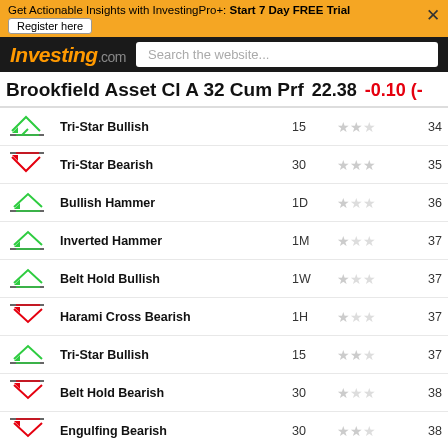Get Actionable Insights with InvestingPro+: Start 7 Day FREE Trial  Register here
[Figure (screenshot): Investing.com logo and search bar]
Brookfield Asset Cl A 32 Cum Prf  22.38  -0.10
| Icon | Pattern | Timeframe | Stars | Num |
| --- | --- | --- | --- | --- |
| bullish | Tri-Star Bullish | 15 | ★★☆☆☆ | 34 |
| bearish | Tri-Star Bearish | 30 | ★★★☆☆ | 35 |
| bullish | Bullish Hammer | 1D | ★☆☆☆☆ | 36 |
| bullish | Inverted Hammer | 1M | ★☆☆☆☆ | 37 |
| bullish | Belt Hold Bullish | 1W | ★☆☆☆☆ | 37 |
| bearish | Harami Cross Bearish | 1H | ★☆☆☆☆ | 37 |
| bullish | Tri-Star Bullish | 15 | ★★☆☆☆ | 37 |
| bearish | Belt Hold Bearish | 30 | ★☆☆☆☆ | 38 |
| bearish | Engulfing Bearish | 30 | ★★☆☆☆ | 38 |
| bullish | Homing Pigeon | 5H | ★★☆☆☆ | 39 |
| bullish | Inverted Hammer | 5H | ★☆☆☆☆ | 39 |
| bearish | Tri-Star Bearish | 15 | ★★★☆☆ | 40 |
| bearish | Falling Th... | ? |  |  |
| bullish | Belt Hold... | ? |  |  |
BAM_pfa Comments